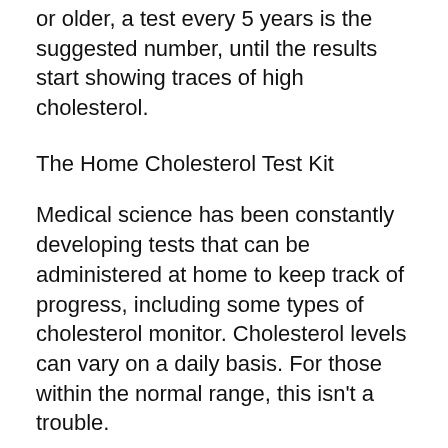or older, a test every 5 years is the suggested number, until the results start showing traces of high cholesterol.
The Home Cholesterol Test Kit
Medical science has been constantly developing tests that can be administered at home to keep track of progress, including some types of cholesterol monitor. Cholesterol levels can vary on a daily basis. For those within the normal range, this isn't a trouble.
When your cholesterol levels are typically at the borderline levels that can be dangerous, it can be important for you to monitor changes so that you can see what is working and what isn't.